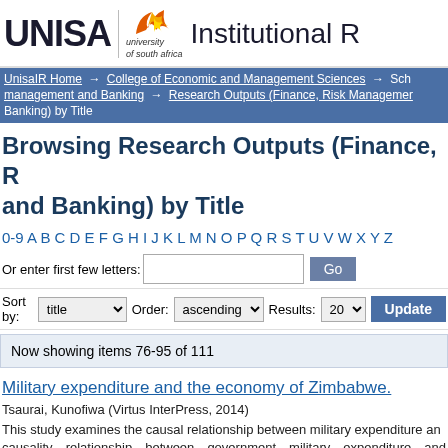UNISA | university of south africa | Institutional R[epository]
UnisaIR Home → College of Economic and Management Sciences → Sch[ool of Finance, Risk] management and Banking → Research Outputs (Finance, Risk Managemen[t and Banking) by Title
Browsing Research Outputs (Finance, R[isk Management] and Banking) by Title
0-9 A B C D E F G H I J K L M N O P Q R S T U V W X Y Z
Or enter first few letters: [input] Go
Sort by: title  Order: ascending  Results: 20  Update
Now showing items 76-95 of 111
Military expenditure and the economy of Zimbabwe.
Tsaurai, Kunofiwa (Virtus InterPress, 2014)
This study examines the causal relationship between military expenditure and economic growth... causality relationship between government military expenditure and economic...